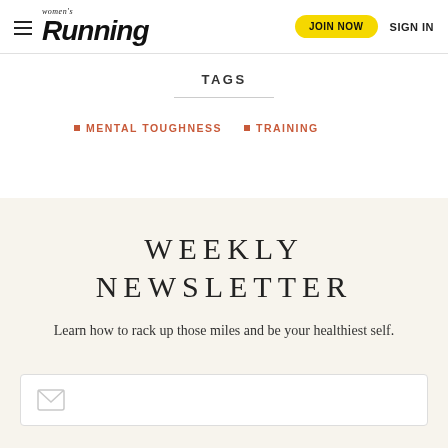Women's Running — JOIN NOW  SIGN IN
TAGS
MENTAL TOUGHNESS
TRAINING
WEEKLY NEWSLETTER
Learn how to rack up those miles and be your healthiest self.